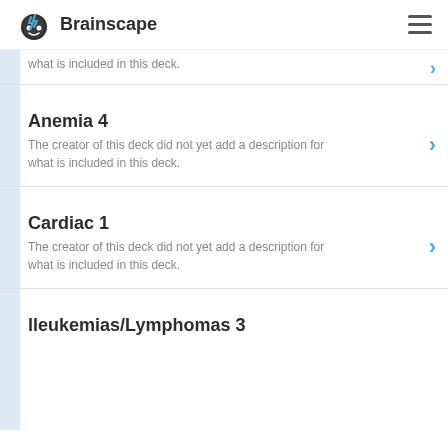Brainscape
what is included in this deck.
Anemia 4
The creator of this deck did not yet add a description for what is included in this deck.
Cardiac 1
The creator of this deck did not yet add a description for what is included in this deck.
lleukemias/Lymphomas 3